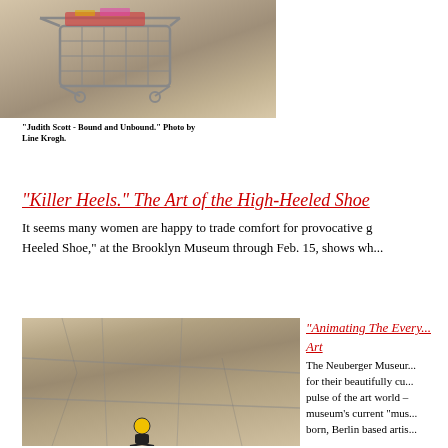[Figure (photo): Photo of a small metal shopping cart sculpture on a white surface, part of Judith Scott exhibition]
"Judith Scott - Bound and Unbound." Photo by Line Krogh.
"Killer Heels." The Art of the High-Heeled Shoe
It seems many women are happy to trade comfort for provocative g... Heeled Shoe," at the Brooklyn Museum through Feb. 15, shows wh...
[Figure (photo): Photo of a person on a cracked stone or tile floor, part of Animating The Every... exhibition]
"Animating The Every... Art
The Neuberger Museur... for their beautifully cu... pulse of the art world – museum's current "mus... born, Berlin based artis...